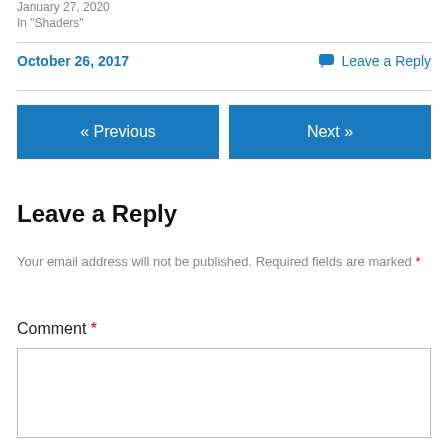January 27, 2020
In "Shaders"
October 26, 2017
Leave a Reply
« Previous
Next »
Leave a Reply
Your email address will not be published. Required fields are marked *
Comment *